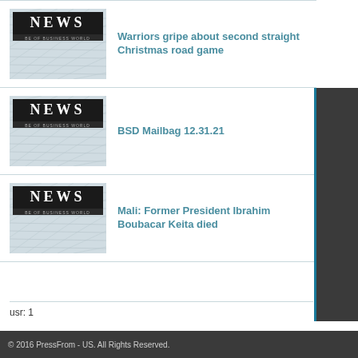[Figure (photo): News newspaper thumbnail image]
Warriors gripe about second straight Christmas road game
[Figure (photo): News newspaper thumbnail image]
BSD Mailbag 12.31.21
[Figure (photo): News newspaper thumbnail image]
Mali: Former President Ibrahim Boubacar Keita died
usr: 1
© 2016 PressFrom - US. All Rights Reserved.